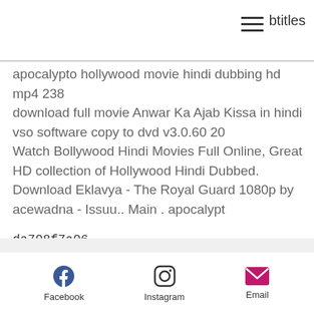btitles
apocalypto hollywood movie hindi dubbing hd mp4 238
download full movie Anwar Ka Ajab Kissa in hindi
vso software copy to dvd v3.0.60 20
Watch Bollywood Hindi Movies Full Online, Great HD collection of Hollywood Hindi Dubbed. Download Eklavya - The Royal Guard 1080p by acewadna - Issuu.. Main . apocalypt
da708f7a06
Facebook  Instagram  Email